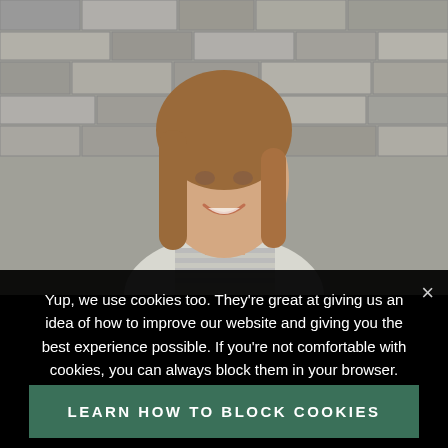[Figure (photo): A smiling young woman with long brown hair, wearing a striped top, standing in front of a stone brick wall background.]
Yup, we use cookies too. They're great at giving us an idea of how to improve our website and giving you the best experience possible. If you're not comfortable with cookies, you can always block them in your browser.
GOT IT!
LEARN HOW TO BLOCK COOKIES